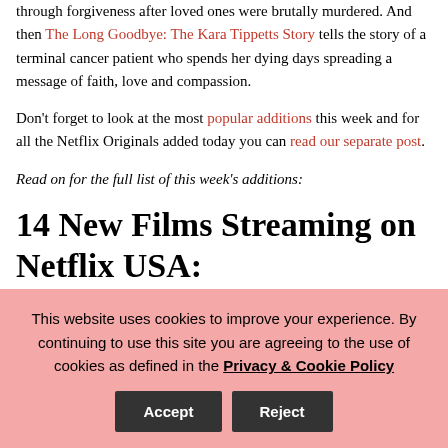through forgiveness after loved ones were brutally murdered. And then The Long Goodbye: The Kara Tippetts Story tells the story of a terminal cancer patient who spends her dying days spreading a message of faith, love and compassion.
Don't forget to look at the most popular additions this week and for all the Netflix Originals added today you can read our separate post.
Read on for the full list of this week's additions:
14 New Films Streaming on Netflix USA:
This website uses cookies to improve your experience. By continuing to use this site you are agreeing to the use of cookies as defined in the Privacy & Cookie Policy